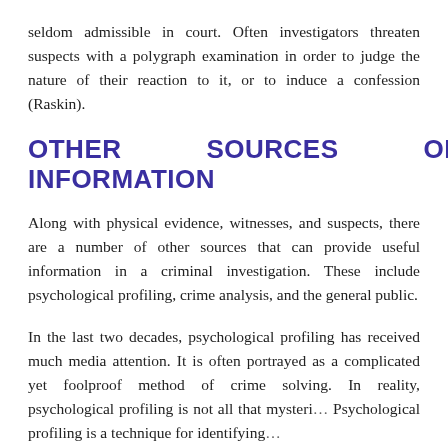seldom admissible in court. Often investigators threaten suspects with a polygraph examination in order to judge the nature of their reaction to it, or to induce a confession (Raskin).
OTHER SOURCES OF INFORMATION
Along with physical evidence, witnesses, and suspects, there are a number of other sources that can provide useful information in a criminal investigation. These include psychological profiling, crime analysis, and the general public.
In the last two decades, psychological profiling has received much media attention. It is often portrayed as a complicated yet foolproof method of crime solving. In reality, psychological profiling is not all that mysteri… Psychological profiling is a technique for identifying…